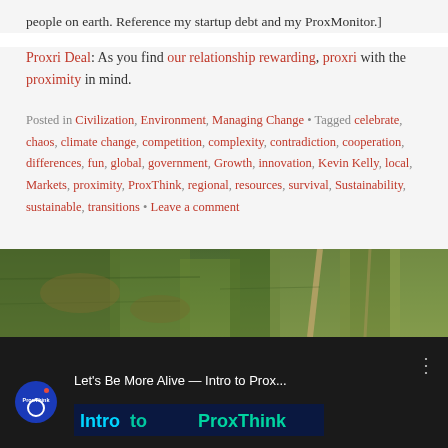people on earth. Reference my startup debt and my ProxMonitor.]
Proxri Deal: As you find our relationship rewarding, proxri with the proximity in mind.
Posted in Civilization, Environment, Managing Change • Tagged celebrate, chaos, climate change, competition, complexity, contradiction, cooperation, differences, fun, global, government, Growth, innovation, Kevin Kelly, local, Markets, proximity, ProxThink, regional, resources, survival, Sustainability, sustainable, transitions • Leave a comment
[Figure (photo): Aerial view of farmland with fields and a dirt road, green and brown landscape]
[Figure (screenshot): YouTube video thumbnail showing ProxThink logo and video title 'Let's Be More Alive — Intro to Prox...' with menu icon, dark background with colorful ProxThink text overlay]